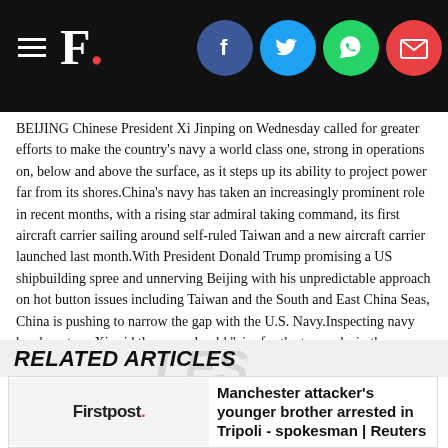F. [Firstpost logo with social share icons: Facebook, Twitter, WhatsApp, Email]
BEIJING Chinese President Xi Jinping on Wednesday called for greater efforts to make the country's navy a world class one, strong in operations on, below and above the surface, as it steps up its ability to project power far from its shores.China's navy has taken an increasingly prominent role in recent months, with a rising star admiral taking command, its first aircraft carrier sailing around self-ruled Taiwan and a new aircraft carrier launched last month.With President Donald Trump promising a US shipbuilding spree and unnerving Beijing with his unpredictable approach on hot button issues including Taiwan and the South and East China Seas, China is pushing to narrow the gap with the U.S. Navy.Inspecting navy headquarters, Xi said the navy should "aim for the top ranks in the world", the Defence Ministry said in a statement about his visit."Building a strong and modern navy is an important mark of a top ranking global military," the ministry paraphrased Xi as saying.
RELATED ARTICLES
Manchester attacker's younger brother arrested in Tripoli - spokesman | Reuters